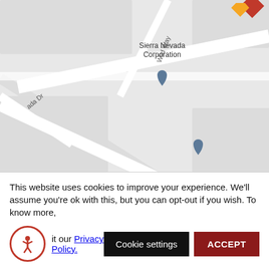[Figure (screenshot): Google Maps screenshot showing area around Los Gatos, CA 95032, USA with map pins for Sierra Nevada Corporation, Cryptic Studios, HT Harvey & Associates, Extra Space Storage, Mina's Elderly Care Homes, Dexter Vu. Street labels include Wild Way, ada Dr, Las Astas Dr, N Way, La.]
All Offices are all independently owned and operated.
Cookie Policy   Privacy Policy   Terms of Use   Fair Housing
This website uses cookies to improve your experience. We'll assume you're ok with this, but you can opt-out if you wish. To know more, visit our Privacy Policy.
Cookie settings
ACCEPT